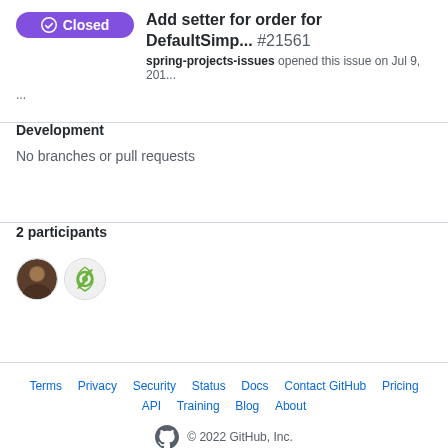Add setter for order for DefaultSimp... #21561 — spring-projects-issues opened this issue on Jul 9, 201...
...
Development
No branches or pull requests
2 participants
[Figure (other): Two participant avatars: a person photo and a Spring logo icon]
Terms   Privacy   Security   Status   Docs   Contact GitHub   Pricing   API   Training   Blog   About   © 2022 GitHub, Inc.